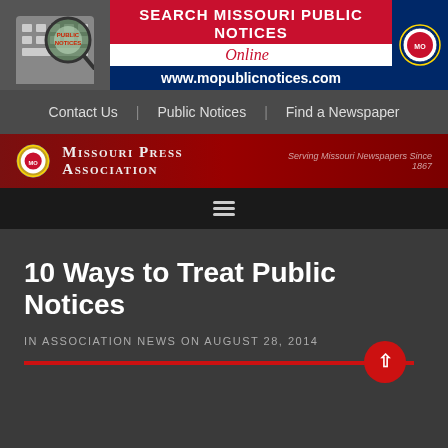[Figure (logo): Missouri Public Notices online banner with red/white/blue stripe, Search Missouri Public Notices text, www.mopublicnotices.com URL, and state seal]
Contact Us | Public Notices | Find a Newspaper
[Figure (logo): Missouri Press Association header with dark red background, state seal logo, organization name 'Missouri Press Association', tagline 'Serving Missouri Newspapers Since 1867', and hamburger menu icon]
10 Ways to Treat Public Notices
IN ASSOCIATION NEWS ON AUGUST 28, 2014